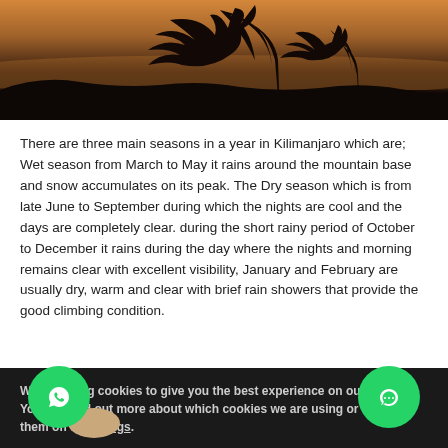[Figure (photo): African savanna landscape at sunset with acacia tree silhouettes against an orange and purple sky]
There are three main seasons in a year in Kilimanjaro which are; Wet season from March to May it rains around the mountain base and snow accumulates on its peak. The Dry season which is from late June to September during which the nights are cool and the days are completely clear. during the short rainy period of October to December it rains during the day where the nights and morning remains clear with excellent visibility, January and February are usually dry, warm and clear with brief rain showers that provide the good climbing condition.
We are using cookies to give you the best experience on our website.
You can find out more about which cookies we are using or switch them off in settings.